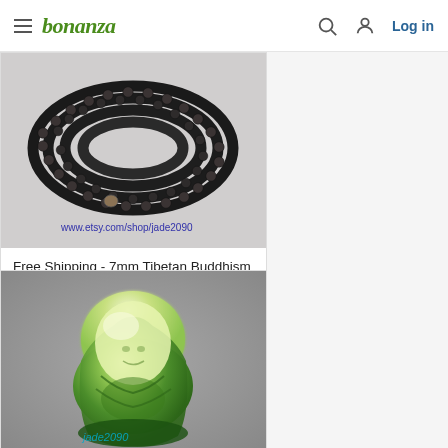bonanza — Log in
[Figure (photo): Dark brown wooden mala bead bracelet/necklace coiled in multiple loops, with text watermark: www.etsy.com/shop/jade2090]
Free Shipping - 7mm Tibetan Buddhism Real Natural black sandalwood medi...
$19.99
[Figure (photo): Green jade Buddha pendant figure, translucent green and yellow tones, carved laughing Buddha, with watermark: jade2090]